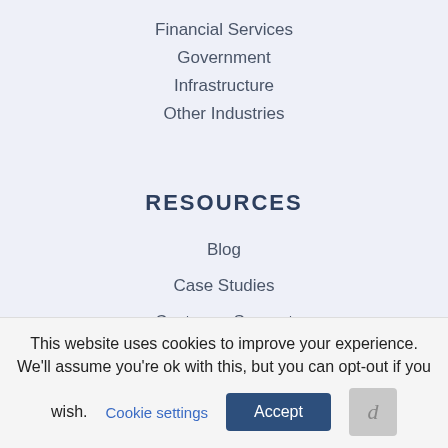Financial Services
Government
Infrastructure
Other Industries
RESOURCES
Blog
Case Studies
Customer Support
Ebooks & Whitepapers
Events
This website uses cookies to improve your experience. We'll assume you're ok with this, but you can opt-out if you wish. Cookie settings Accept